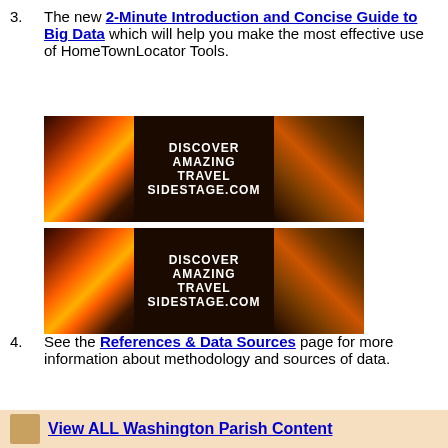3. The new 2-Minute Introduction and Concise Guide to Big Data which will help you make the most effective use of HomeTownLocator Tools.
[Figure (illustration): Two identical advertisement banners for SideStage.com travel, each showing a sunset/landscape photo on left and right sides with text 'DISCOVER AMAZING TRAVEL SIDESTAGE.COM' in the center on dark background.]
4. See the References & Data Sources page for more information about methodology and sources of data.
View ALL Washington Parish Content